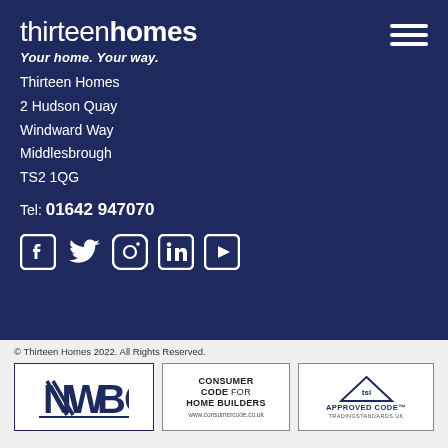thirteenhomes
Your home. Your way.
Thirteen Homes
2 Hudson Quay
Windward Way
Middlesbrough
TS2 1QG
Tel: 01642 947070
[Figure (infographic): Social media icons: Facebook, Twitter, Instagram, LinkedIn, YouTube]
© Thirteen Homes 2022. All Rights Reserved.
[Figure (logo): NHBC logo]
[Figure (logo): Consumer Code for Home Builders logo - www.consumercode.co.uk]
[Figure (logo): TSI Approved Code - TRADINGSTANDARDS.UK]